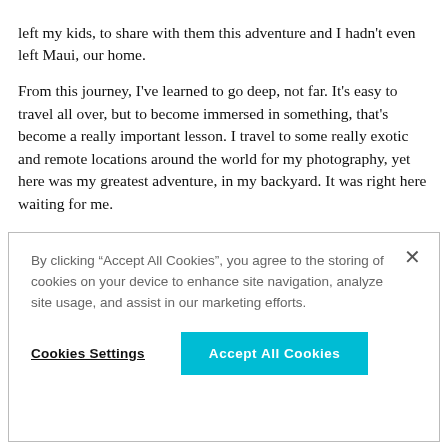left my kids, to share with them this adventure and I hadn't even left Maui, our home.
From this journey, I've learned to go deep, not far. It's easy to travel all over, but to become immersed in something, that's become a really important lesson. I travel to some really exotic and remote locations around the world for my photography, yet here was my greatest adventure, in my backyard. It was right here waiting for me.
By clicking “Accept All Cookies”, you agree to the storing of cookies on your device to enhance site navigation, analyze site usage, and assist in our marketing efforts.
Cookies Settings
Accept All Cookies